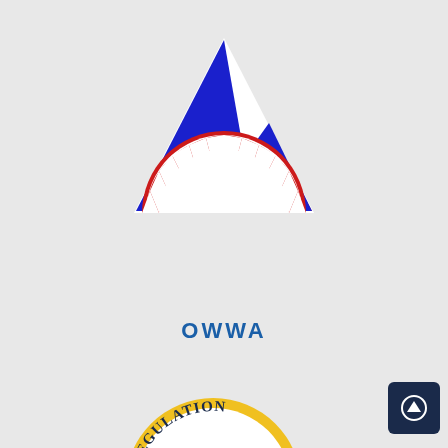[Figure (logo): OWWA (Overseas Workers Welfare Administration) logo — a blue triangle/mountain shape with a red semicircular sun/gear below it and red triangular side shapes, on a light gray background]
OWWA
[Figure (logo): Partial circular logo with yellow border and the word REGULATION visible at the top arc, partially cropped at the bottom of the page]
[Figure (other): Dark navy scroll-to-top button with an upward arrow icon, positioned at bottom right]